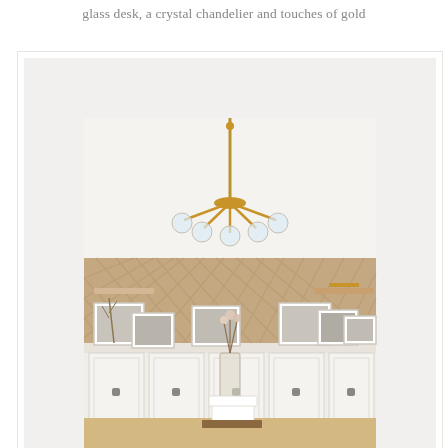glass desk, a crystal chandelier and touches of gold
[Figure (photo): Interior photo of a home office with herringbone wood accent wall, crystal/glass chandelier with gold accents, white cabinetry below, framed black-and-white photos displayed on top of cabinets, a glass vase with dried flowers on a desk in the foreground, and floating shelves on the wall. The scene is framed by a white molding border.]